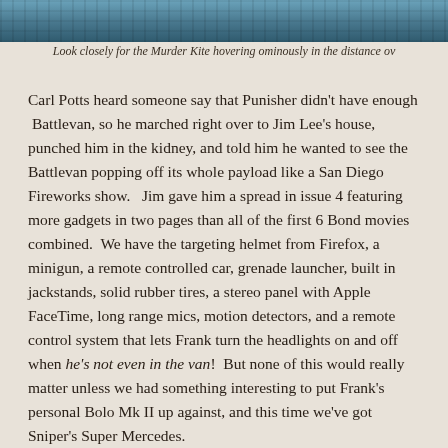[Figure (illustration): Top portion of a comic book panel showing a blue-toned scene, partially cropped at the top of the page.]
Look closely for the Murder Kite hovering ominously in the distance ov
Carl Potts heard someone say that Punisher didn't have enough  Battlevan, so he marched right over to Jim Lee's house, punched him in the kidney, and told him he wanted to see the Battlevan popping off its whole payload like a San Diego Fireworks show.   Jim gave him a spread in issue 4 featuring more gadgets in two pages than all of the first 6 Bond movies combined.  We have the targeting helmet from Firefox, a minigun, a remote controlled car, grenade launcher, built in jackstands, solid rubber tires, a stereo panel with Apple FaceTime, long range mics, motion detectors, and a remote control system that lets Frank turn the headlights on and off when he's not even in the van!  But none of this would really matter unless we had something interesting to put Frank's personal Bolo Mk II up against, and this time we've got Sniper's Super Mercedes.
The Super Merc has bullet proofing, rear oil spray, rear mounted machine guns, hubcap mines, and surface to air heat